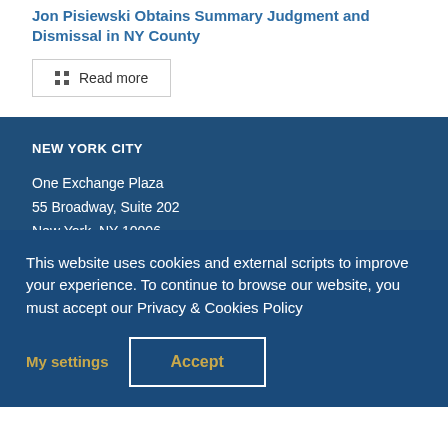Jon Pisiewski Obtains Summary Judgment and Dismissal in NY County
Read more
NEW YORK CITY
One Exchange Plaza
55 Broadway, Suite 202
New York, NY 10006
This website uses cookies and external scripts to improve your experience. To continue to browse our website, you must accept our Privacy & Cookies Policy
My settings
Accept